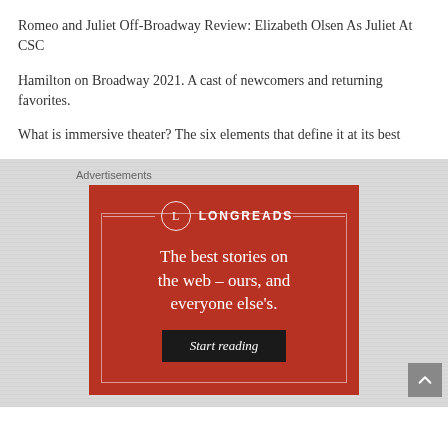Romeo and Juliet Off-Broadway Review: Elizabeth Olsen As Juliet At CSC
Hamilton on Broadway 2021. A cast of newcomers and returning favorites.
What is immersive theater? The six elements that define it at its best
Advertisements
[Figure (illustration): Longreads advertisement banner with red background, circular L logo, and text: The best stories on the web – ours, and everyone else's. With a Start reading button.]